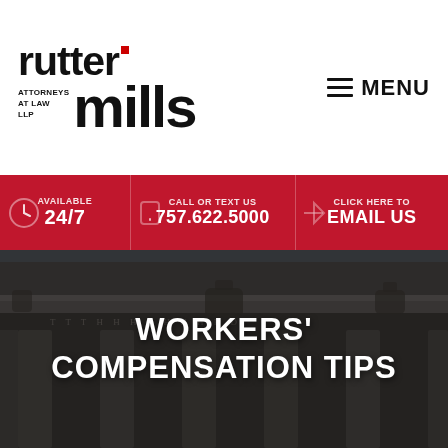[Figure (logo): Rutter Mills Attorneys at Law LLP logo — black bold text with red square accent]
☰ MENU
AVAILABLE 24/7 | CALL OR TEXT US 757.622.5000 | CLICK HERE TO EMAIL US
[Figure (photo): Dark-tinted photograph of a courthouse exterior with classical columns]
WORKERS' COMPENSATION TIPS